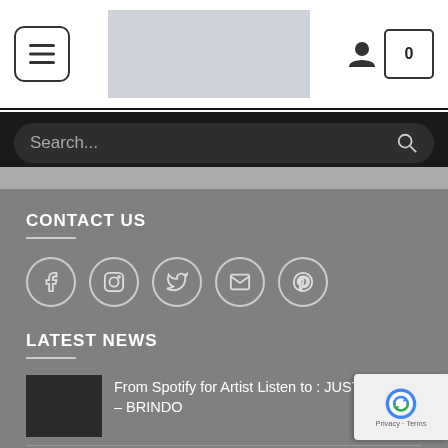[Figure (screenshot): Website navigation bar with hamburger menu button on left, logo placeholder in center, user icon and cart (0) on right]
[Figure (screenshot): Search bar with dark background, rounded search input showing 'Search...' placeholder and magnifying glass icon]
CONTACT US
[Figure (infographic): Social media icons in circles: Facebook, Instagram, Twitter, Email, Pinterest]
LATEST NEWS
From Spotify for Artist Listen to : JUST LENNY – BRINDO
From Spotify for Artist Listen to : Everybody Knows